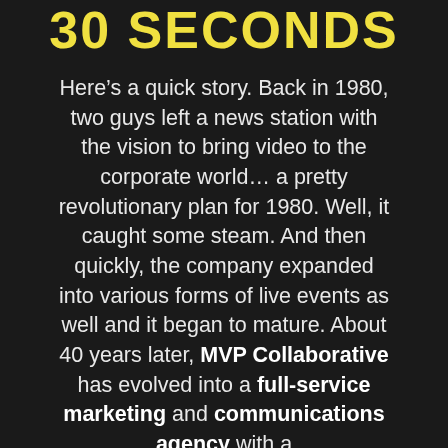30 SECONDS
Here’s a quick story. Back in 1980, two guys left a news station with the vision to bring video to the corporate world… a pretty revolutionary plan for 1980. Well, it caught some steam. And then quickly, the company expanded into various forms of live events as well and it began to mature. About 40 years later, MVP Collaborative has evolved into a full-service marketing and communications agency with a